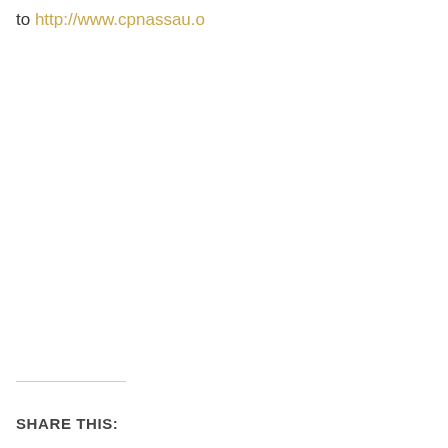to http://www.cpnassau.o
SHARE THIS: